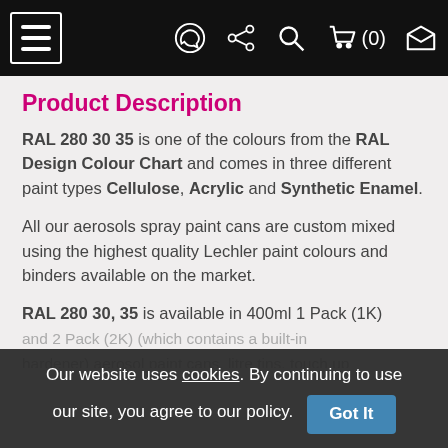Navigation bar with menu, WhatsApp, share, search, cart (0), and message icons
Product Description
RAL 280 30 35 is one of the colours from the RAL Design Colour Chart and comes in three different paint types Cellulose, Acrylic and Synthetic Enamel.
All our aerosols spray paint cans are custom mixed using the highest quality Lechler paint colours and binders available on the market.
RAL 280 30 35 is available in 400ml 1 Pack (1K) and 2 Pack (2K) (which contains a built-in hardener) aerosol paint cans, litre tins, touch up and repair pots or pens.
Our website uses cookies. By continuing to use our site, you agree to our policy. Got It